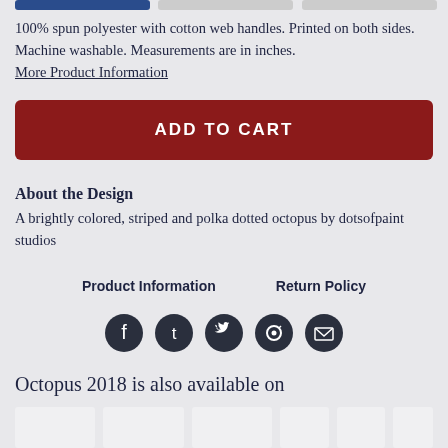100% spun polyester with cotton web handles. Printed on both sides. Machine washable. Measurements are in inches.
More Product Information
ADD TO CART
About the Design
A brightly colored, striped and polka dotted octopus by dotsofpaint studios
Product Information    Return Policy
[Figure (other): Social sharing icons: Facebook, Tumblr, Twitter, Pinterest, Email]
Octopus 2018 is also available on
[Figure (other): Row of product thumbnail images]